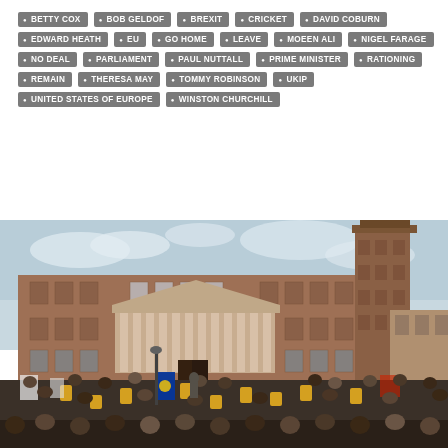BETTY COX • BOB GELDOF • BREXIT • CRICKET • DAVID COBURN • EDWARD HEATH • EU • GO HOME • LEAVE • MOEEN ALI • NIGEL FARAGE • NO DEAL • PARLIAMENT • PAUL NUTTALL • PRIME MINISTER • RATIONING • REMAIN • THERESA MAY • TOMMY ROBINSON • UKIP • UNITED STATES OF EUROPE • WINSTON CHURCHILL
[Figure (photo): A large crowd gathered outside a grand brick municipal building with classical columns and a tall tower, likely a UK city hall. Protesters hold signs; the scene appears to be a Brexit-related demonstration.]